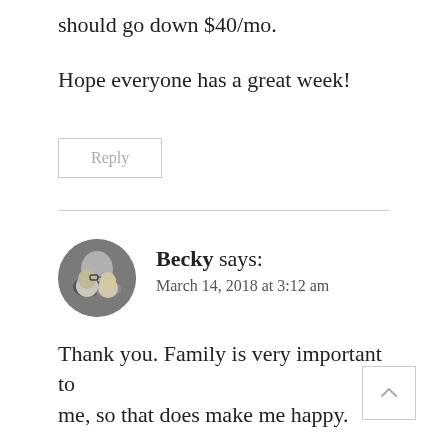should go down $40/mo.
Hope everyone has a great week!
Reply
Becky says:
March 14, 2018 at 3:12 am
Thank you. Family is very important to me, so that does make me happy.